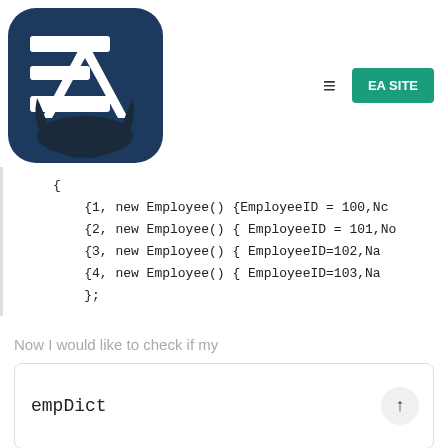[Figure (logo): EA (Electronic Arts style) logo — rounded square with teal/navy blue background, white stylized 'EA' letters]
[Figure (screenshot): Navigation bar with hamburger menu icon and green 'EA SITE' button]
Now I would like to check if my
empDict